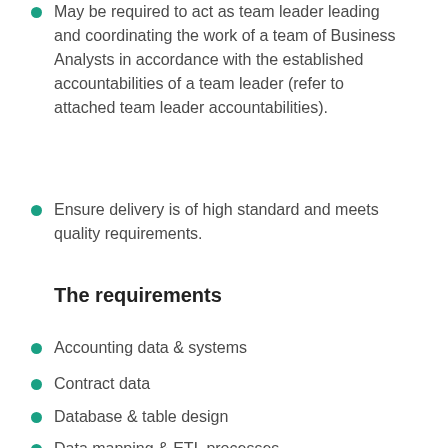May be required to act as team leader leading and coordinating the work of a team of Business Analysts in accordance with the established accountabilities of a team leader (refer to attached team leader accountabilities).
Ensure delivery is of high standard and meets quality requirements.
The requirements
Accounting data & systems
Contract data
Database & table design
Data mapping & ETL processes